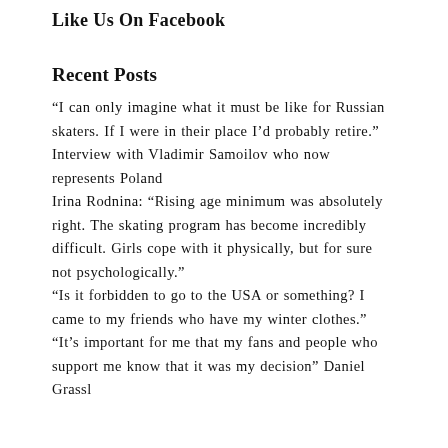Like Us On Facebook
Recent Posts
“I can only imagine what it must be like for Russian skaters. If I were in their place I’d probably retire.” Interview with Vladimir Samoilov who now represents Poland
Irina Rodnina: “Rising age minimum was absolutely right. The skating program has become incredibly difficult. Girls cope with it physically, but for sure not psychologically.”
“Is it forbidden to go to the USA or something? I came to my friends who have my winter clothes.”
“It’s important for me that my fans and people who support me know that it was my decision” Daniel Grassl